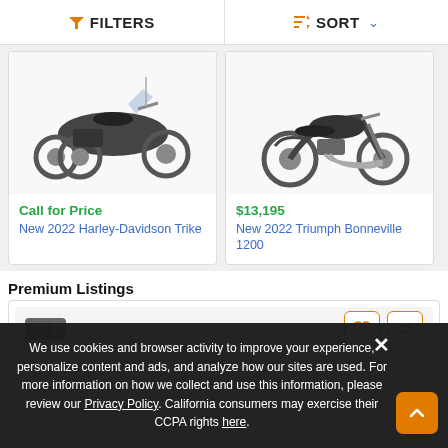FILTERS   SORT
[Figure (photo): Photo of a 2022 Harley-Davidson Trike motorcycle, dark color, three-wheeled touring bike]
Call for Price
New 2022 Harley-Davidson Trike
[Figure (photo): Photo of a 2022 Triumph Bonneville 1200 motorcycle, dark classic style]
$13,195
New 2022 Triumph Bonneville 1200
Premium Listings
[Figure (other): Premium listing card with photo badge showing 1 photo, and action buttons (favorite heart and compare arrows)]
We use cookies and browser activity to improve your experience, personalize content and ads, and analyze how our sites are used. For more information on how we collect and use this information, please review our Privacy Policy. California consumers may exercise their CCPA rights here.